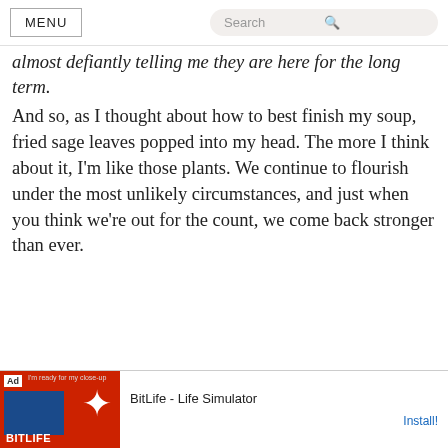MENU | Search
almost defiantly telling me they are here for the long term. And so, as I thought about how to best finish my soup, fried sage leaves popped into my head. The more I think about it, I'm like those plants. We continue to flourish under the most unlikely circumstances, and just when you think we're out for the count, we come back stronger than ever.
[Figure (screenshot): Advertisement banner for BitLife - Life Simulator app with red background, sperm icon, and Install button]